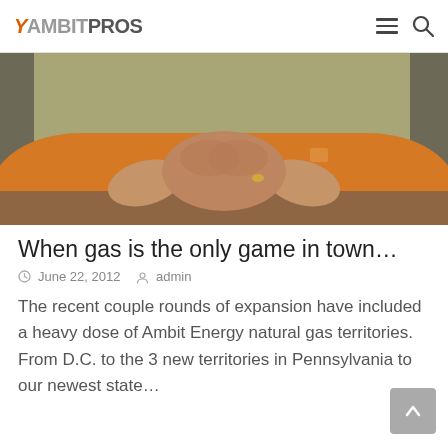AmbitPros
[Figure (photo): Person in orange polo shirt with hands clasped together resting on a table, torso and hands visible, blurred background]
When gas is the only game in town…
June 22, 2012   admin
The recent couple rounds of expansion have included a heavy dose of Ambit Energy natural gas territories.  From D.C. to the 3 new territories in Pennsylvania to our newest state…